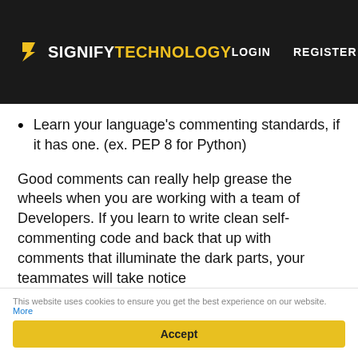SIGNIFY TECHNOLOGY — LOGIN   REGISTER
Learn your language's commenting standards, if it has one. (ex. PEP 8 for Python)
Good comments can really help grease the wheels when you are working with a team of Developers. If you learn to write clean self-commenting code and back that up with comments that illuminate the dark parts, your teammates will take notice
This website uses cookies to ensure you get the best experience on our website. More
Accept